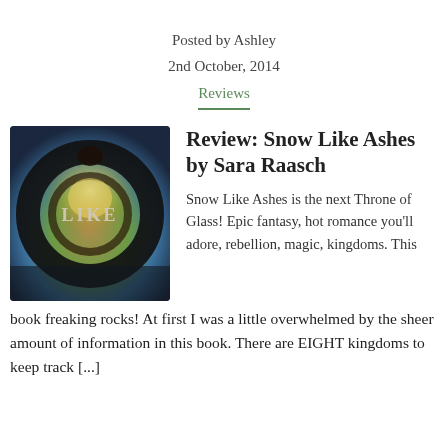Posted by Ashley
2nd October, 2014
Reviews
Review: Snow Like Ashes by Sara Raasch
[Figure (illustration): Book cover for Snow Like Ashes showing a yin-yang-like circular emblem made of two serpents or dark curved forms, with glowing fantasy landscape imagery inside, and the text LIKE visible]
Snow Like Ashes is the next Throne of Glass! Epic fantasy, hot romance you'll adore, rebellion, magic, kingdoms. This book freaking rocks! At first I was a little overwhelmed by the sheer amount of information in this book. There are EIGHT kingdoms to keep track [...]